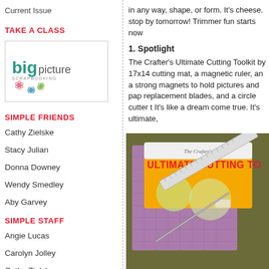Current Issue
TAKE A CLASS
[Figure (logo): Big Picture Scrapbooking logo with colorful flower illustrations]
SIMPLE FRIENDS
Cathy Zielske
Stacy Julian
Donna Downey
Wendy Smedley
Aby Garvey
SIMPLE STAFF
Angie Lucas
Carolyn Jolley
Cathy Zielske
Jennafer Martin
in any way, shape, or form. It's cheese. stop by tomorrow! Trimmer fun starts now
1. Spotlight
The Crafter's Ultimate Cutting Toolkit by 17x14 cutting mat, a magnetic ruler, an a strong magnets to hold pictures and pap replacement blades, and a circle cutter t It's like a dream come true. It's ultimate,
[Figure (photo): Photo of The Crafter's Ultimate Cutting Toolkit product showing a cutting mat, ruler, and other tools]